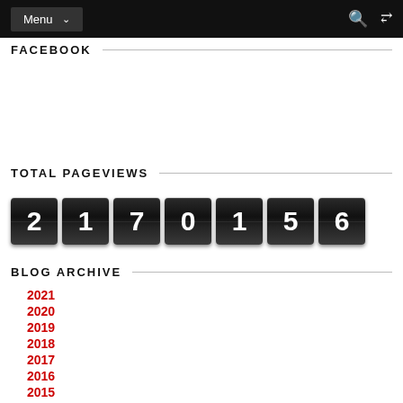Menu
FACEBOOK
TOTAL PAGEVIEWS
2170156
BLOG ARCHIVE
2021
2020
2019
2018
2017
2016
2015